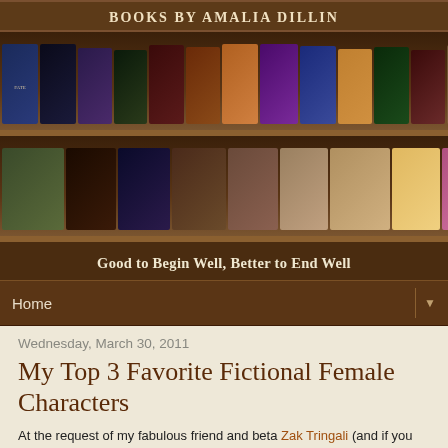[Figure (illustration): Website header banner for 'Books by Amalia Dillin' showing two rows of book covers arranged on wooden bookshelves with tagline 'Good to Begin Well, Better to End Well' below]
BOOKS BY AMALIA DILLIN
Good to Begin Well, Better to End Well
Home ▼
Wednesday, March 30, 2011
My Top 3 Favorite Fictional Female Characters
At the request of my fabulous friend and beta Zak Tringali (and if you do not follow his blog, get on that because he posts awesome stuff on writing, and the ingredients of good books), today I present to you my top three Fictional Female Characters across genre and cross media!